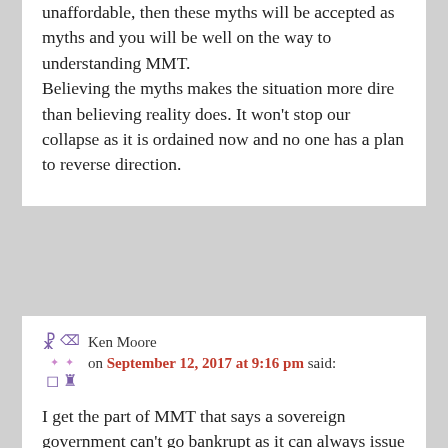unaffordable, then these myths will be accepted as myths and you will be well on the way to understanding MMT. Believing the myths makes the situation more dire than believing reality does. It won't stop our collapse as it is ordained now and no one has a plan to reverse direction.
Ken Moore on September 12, 2017 at 9:16 pm said:
I get the part of MMT that says a sovereign government can't go bankrupt as it can always issue more money as a monopoly supplier.